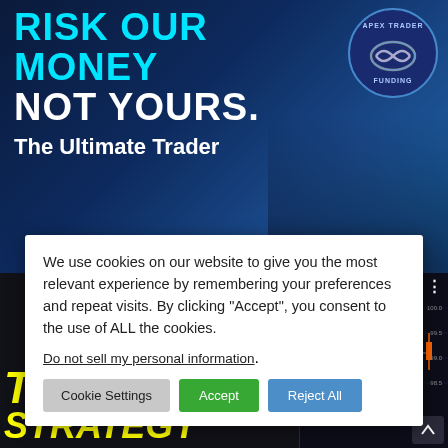[Figure (screenshot): Top banner advertisement for Apex Trader Funding with dark blue background. Large cyan text reads 'RISK OUR MONEY NOT YOURS.' White text reads 'The Ultimate Trader'. Circular logo badge in top right. Person image on right side.]
We use cookies on our website to give you the most relevant experience by remembering your preferences and repeat visits. By clicking “Accept”, you consent to the use of ALL the cookies.
Do not sell my personal information.
Cookie Settings
Accept
Reject All
[Figure (screenshot): Bottom section showing yellow italic text 'TOP & BOTTOM' and 'STRATEGY' on dark background, with a YouTube play button overlay, and a candlestick chart on the right side labeled 'Patter...']